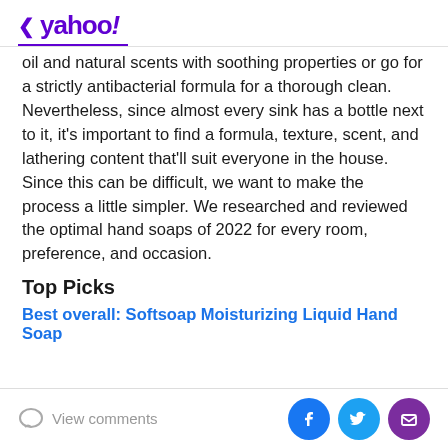< yahoo!
oil and natural scents with soothing properties or go for a strictly antibacterial formula for a thorough clean. Nevertheless, since almost every sink has a bottle next to it, it's important to find a formula, texture, scent, and lathering content that'll suit everyone in the house. Since this can be difficult, we want to make the process a little simpler. We researched and reviewed the optimal hand soaps of 2022 for every room, preference, and occasion.
Top Picks
Best overall: Softsoap Moisturizing Liquid Hand Soap
View comments